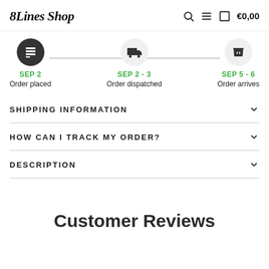8Lines Shop — €0,00
[Figure (infographic): Order tracking timeline with three steps: Order placed (SEP 2), Order dispatched (SEP 2-3), Order arrives (SEP 5-6). Icons for list, delivery truck, and package.]
SEP 2
Order placed
SEP 2 - 3
Order dispatched
SEP 5 - 6
Order arrives
SHIPPING INFORMATION
HOW CAN I TRACK MY ORDER?
DESCRIPTION
Customer Reviews